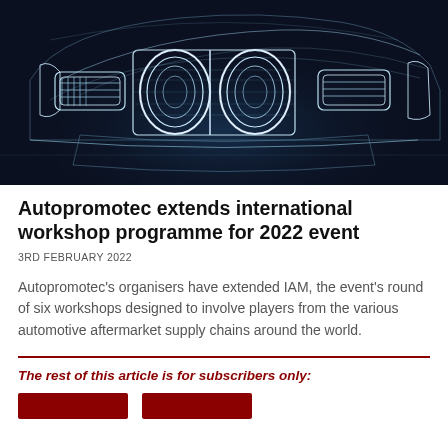[Figure (photo): Dark blue/black background with a glowing white wireframe blueprint-style rendering of the front end of a car, showing headlights, grille, and hood. Futuristic technical design visualization.]
Autopromotec extends international workshop programme for 2022 event
3RD FEBRUARY 2022
Autopromotec's organisers have extended IAM, the event's round of six workshops designed to involve players from the various automotive aftermarket supply chains around the world.
The rest of this article is for subscribers only: